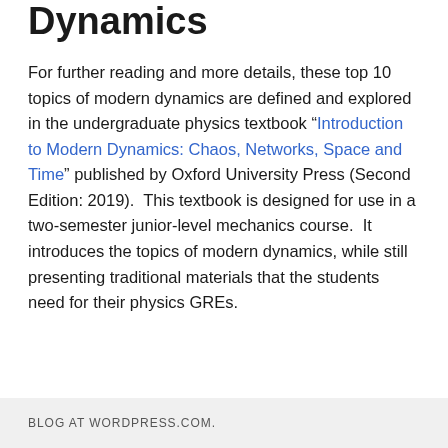Dynamics
For further reading and more details, these top 10 topics of modern dynamics are defined and explored in the undergraduate physics textbook “Introduction to Modern Dynamics: Chaos, Networks, Space and Time” published by Oxford University Press (Second Edition: 2019).  This textbook is designed for use in a two-semester junior-level mechanics course.  It introduces the topics of modern dynamics, while still presenting traditional materials that the students need for their physics GREs.
BLOG AT WORDPRESS.COM.